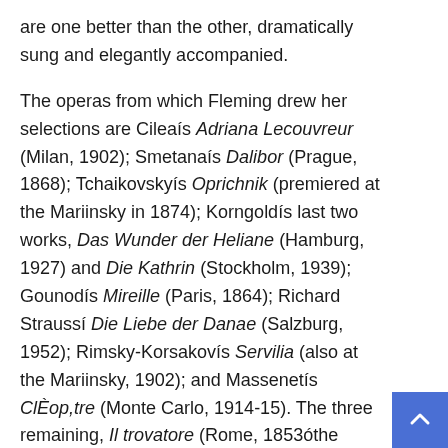are one better than the other, dramatically sung and elegantly accompanied.
The operas from which Fleming drew her selections are Cileaís Adriana Lecouvreur (Milan, 1902); Smetanaís Dalibor (Prague, 1868); Tchaikovskyís Oprichnik (premiered at the Mariinsky in 1874); Korngoldís last two works, Das Wunder der Heliane (Hamburg, 1927) and Die Kathrin (Stockholm, 1939); Gounodís Mireille (Paris, 1864); Richard Straussí Die Liebe der Danae (Salzburg, 1952); Rimsky-Korsakovís Servilia (also at the Mariinsky, 1902); and Massenetís ClÈop,tre (Monte Carlo, 1914-15). The three remaining, Il trovatore (Rome, 1853óthe earliest work represented), Tosca (Rome, 1900) and Jen?fa (Brno, 1904) are the most commonly known operas on the list. Although all of the other works contain gems for the diva voice, their histories in many cases reflect scores and librettos that in their day were considered troublesome.